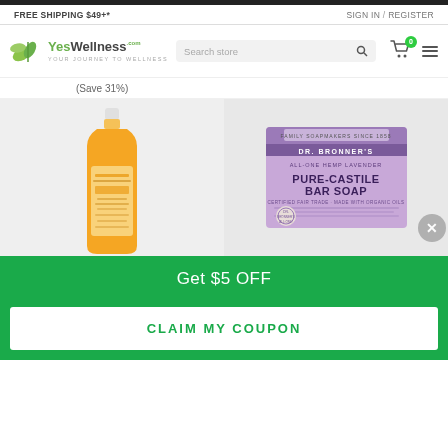FREE SHIPPING $49+*    SIGN IN / REGISTER
[Figure (logo): YesWellness.com logo with green leaf icon and tagline 'Your Journey To Wellness']
(Save 31%)
[Figure (photo): Dr. Bronner's Pure-Castile liquid soap bottle (orange/citrus) on left, and Dr. Bronner's All-One Hemp Lavender Pure-Castile Bar Soap box (purple) on right with a close/X button overlay]
Get $5 OFF
CLAIM MY COUPON